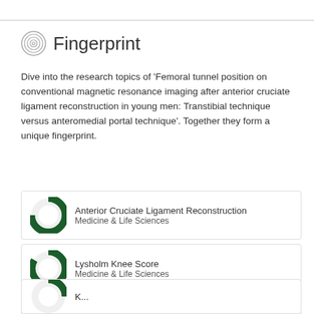Fingerprint
Dive into the research topics of 'Femoral tunnel position on conventional magnetic resonance imaging after anterior cruciate ligament reconstruction in young men: Transtibial technique versus anteromedial portal technique'. Together they form a unique fingerprint.
Anterior Cruciate Ligament Reconstruction
Medicine & Life Sciences
Lysholm Knee Score
Medicine & Life Sciences
Thigh
Medicine & Life Sciences
K...